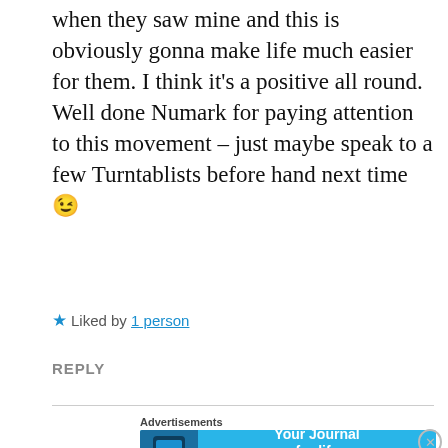when they saw mine and this is obviously gonna make life much easier for them. I think it’s a positive all round. Well done Numark for paying attention to this movement – just maybe speak to a few Turntablists before hand next time 😉
★ Liked by 1 person
REPLY
[Figure (screenshot): DayOne app advertisement banner with blue background showing 'Your Journal for life' and DayOne logo]
[Figure (screenshot): DuckDuckGo advertisement banner with orange background showing 'Search, browse, and email with more privacy. All in One Free App' and DuckDuckGo logo]